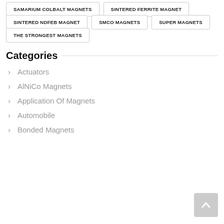SAMARIUM COLBALT MAGNETS
SINTERED FERRITE MAGNET
SINTERED NDFEB MAGNET
SMCO MAGNETS
SUPER MAGNETS
THE STRONGEST MAGNETS
Categories
Actuators
AlNiCo Magnets
Application Of Magnets
Automobile
Bonded Magnets